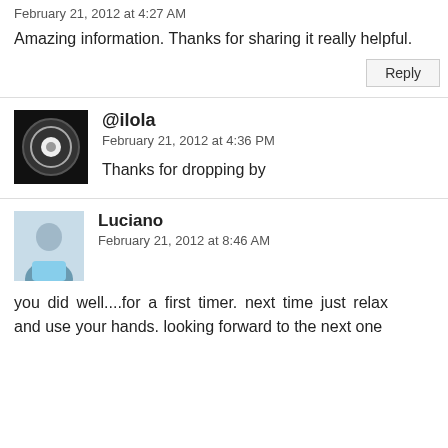February 21, 2012 at 4:27 AM
Amazing information. Thanks for sharing it really helpful.
Reply
@ilola
February 21, 2012 at 4:36 PM
Thanks for dropping by
Luciano
February 21, 2012 at 8:46 AM
you did well....for a first timer. next time just relax and use your hands. looking forward to the next one